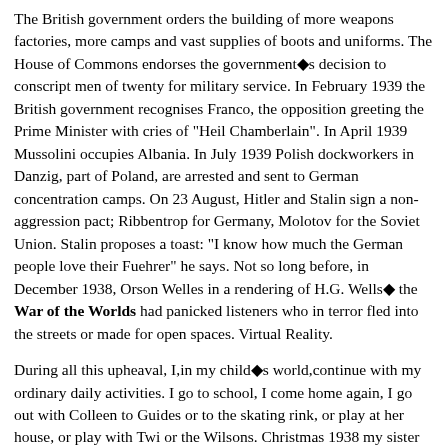The British government orders the building of more weapons factories, more camps and vast supplies of boots and uniforms. The House of Commons endorses the government◆s decision to conscript men of twenty for military service. In February 1939 the British government recognises Franco, the opposition greeting the Prime Minister with cries of "Heil Chamberlain". In April 1939 Mussolini occupies Albania. In July 1939 Polish dockworkers in Danzig, part of Poland, are arrested and sent to German concentration camps. On 23 August, Hitler and Stalin sign a non-aggression pact; Ribbentrop for Germany, Molotov for the Soviet Union. Stalin proposes a toast: "I know how much the German people love their Fuehrer" he says. Not so long before, in December 1938, Orson Welles in a rendering of H.G. Wells◆ the War of the Worlds had panicked listeners who in terror fled into the streets or made for open spaces. Virtual Reality.
During all this upheaval, I,in my child◆s world,continue with my ordinary daily activities. I go to school, I come home again, I go out with Colleen to Guides or to the skating rink, or play at her house, or play with Twi or the Wilsons. Christmas 1938 my sister and I buy a small 6d Christmas Tree and ornaments, the latter from Woolworths. Having set the tree with earth in a flower pot, we find the clip-on candle-stick holders bought for previous Christmases and having clipped them onto various branches, carefully give each one a coloured spiral-patterned candle. We buy coloured strips of